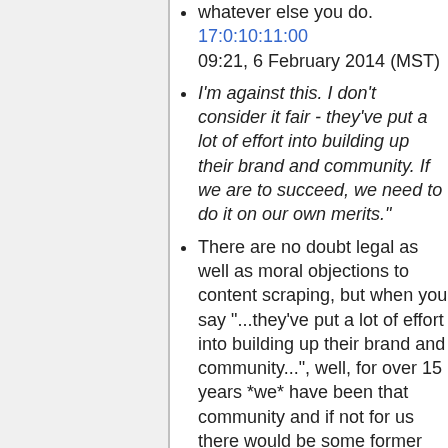whatever else you do. [timestamp] 09:21, 6 February 2014 (MST)
I'm against this. I don't consider it fair - they've put a lot of effort into building up their brand and community. If we are to succeed, we need to do it on our own merits."
There are no doubt legal as well as moral objections to content scraping, but when you say "...they've put a lot of effort into building up their brand and community...", well, for over 15 years *we* have been that community and if not for us there would be some former college students who used to have a little hobby site.--unitron
Scraping bad. Having editors dotted around the timezones that create their own better versions of the